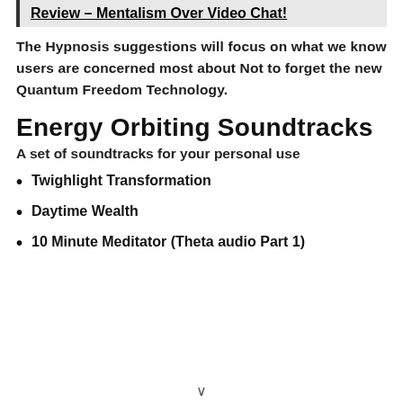Review – Mentalism Over Video Chat!
The Hypnosis suggestions will focus on what we know users are concerned most about Not to forget the new Quantum Freedom Technology.
Energy Orbiting Soundtracks
A set of soundtracks for your personal use
Twighlight Transformation
Daytime Wealth
10 Minute Meditator (Theta audio Part 1)